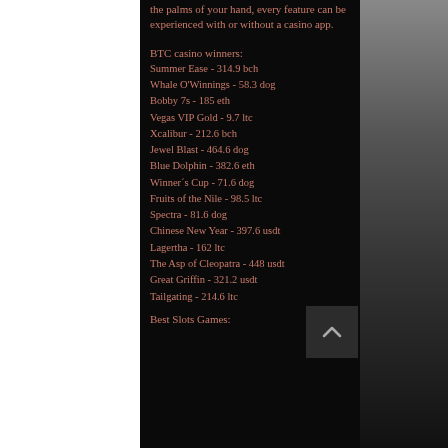the palms of your hand, every feature can be experienced with or without a casino app.
BTC casino winners:
Summer Ease - 314.9 bch
Whale O'Winnings - 58.3 dog
Bobby 7s - 185 eth
Vegas VIP Gold - 9.7 ltc
Xcalibur - 212.6 bch
Jewel Blast - 464.6 dog
Blue Dolphin - 382.6 eth
Winner´s Cup - 71.6 dog
Fruits of the Nile - 98.5 ltc
Spectra - 81.6 dog
Chinese New Year - 397.6 usdt
Lagertha - 162 ltc
The Asp of Cleopatra - 448 usdt
Great Griffin - 321.2 usdt
Tailgating - 214.6 ltc
Best Slots Games: